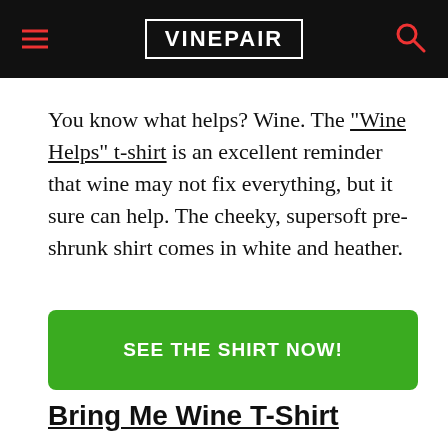VINEPAIR
You know what helps? Wine. The “Wine Helps” t-shirt is an excellent reminder that wine may not fix everything, but it sure can help. The cheeky, supersoft pre-shrunk shirt comes in white and heather.
[Figure (other): Green call-to-action button reading SEE THE SHIRT NOW!]
Bring Me Wine T-Shirt